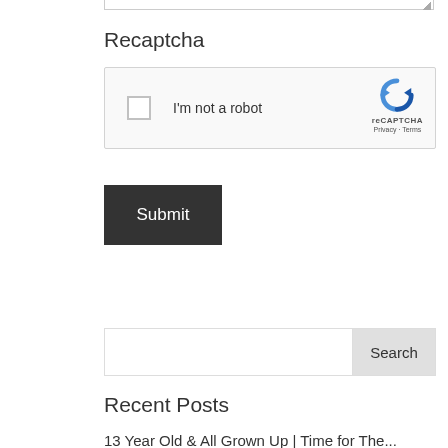[Figure (screenshot): Partial textarea with resize handle at top of page]
Recaptcha
[Figure (screenshot): reCAPTCHA widget box with checkbox labeled 'I'm not a robot' and reCAPTCHA logo with Privacy - Terms links]
[Figure (screenshot): Submit button, dark gray background with white text]
[Figure (screenshot): Search input field with Search button]
Recent Posts
13 Year Old & All Grown Up | Time for The...